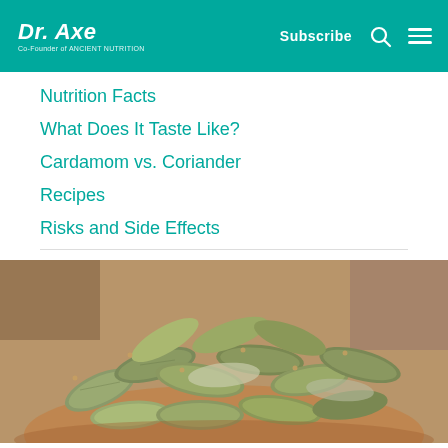Dr. Axe — Co-Founder of Ancient Nutrition | Subscribe
Nutrition Facts
What Does It Taste Like?
Cardamom vs. Coriander
Recipes
Risks and Side Effects
[Figure (photo): Close-up photo of green cardamom pods piled in a wooden bowl]
[Figure (infographic): Social share bar with Facebook, Twitter, Pinterest, Email, and Print buttons]